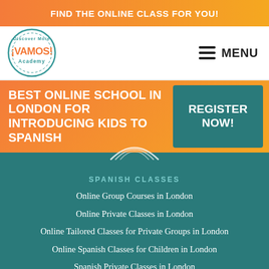FIND THE ONLINE CLASS FOR YOU!
[Figure (logo): Vamos Academy circular logo with text 'Discover More ¡VAMOS! Academy']
MENU
BEST ONLINE SCHOOL IN LONDON FOR INTRODUCING KIDS TO SPANISH
REGISTER NOW!
SPANISH CLASSES
Online Group Courses in London
Online Private Classes in London
Online Tailored Classes for Private Groups in London
Online Spanish Classes for Children in London
Spanish Private Classes in London